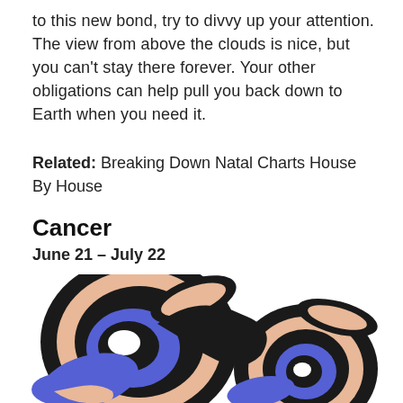to this new bond, try to divvy up your attention. The view from above the clouds is nice, but you can't stay there forever. Your other obligations can help pull you back down to Earth when you need it.
Related: Breaking Down Natal Charts House By House
Cancer
June 21 – July 22
[Figure (illustration): Stylized Cancer zodiac symbol illustration with interlocking curves in black, peach/skin tone, and blue/purple colors forming the crab symbol]